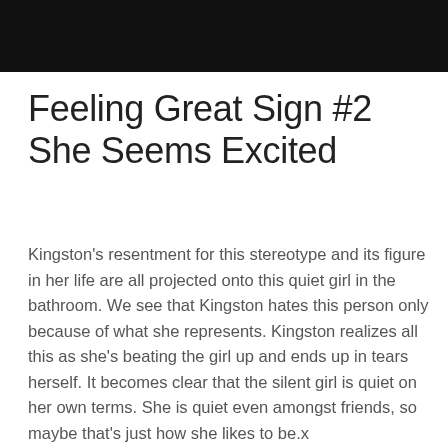[Figure (photo): Dark/black image strip at top of page, appears to be a cropped photograph with very dark tones]
Feeling Great Sign #2 She Seems Excited
Kingston's resentment for this stereotype and its figure in her life are all projected onto this quiet girl in the bathroom. We see that Kingston hates this person only because of what she represents. Kingston realizes all this as she's beating the girl up and ends up in tears herself. It becomes clear that the silent girl is quiet on her own terms. She is quiet even amongst friends, so maybe that's just how she likes to be.x